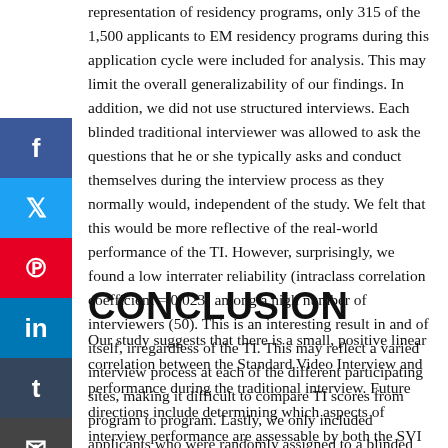representation of residency programs, only 315 of the 1,500 applicants to EM residency programs during this application cycle were included for analysis. This may limit the overall generalizability of our findings. In addition, we did not use structured interviews. Each blinded traditional interviewer was allowed to ask the questions that he or she typically asks and conduct themselves during the interview process as they normally would, independent of the study. We felt that this would be more reflective of the real-world performance of the TI. However, surprisingly, we found a low interrater reliability (intraclass correlation coefficient = 0.023) among a high number of interviewers (50). This is an interesting result in and of itself, irregardless of the TI. This may reflect a varied interview process at each of the different participating sites, making it difficult to compare TI scores from program to program. Lastly, we only included applicants who were randomly assigned to a blinded interviewer, which may have resulted in sample bias.
CONCLUSION
Our study suggests that there is a small, positive linear correlation between the Standard Video Interview and performance during the traditional interview. Future directions include determining which aspects of interview performance are assessable by both the SVI and the TI, and which experiences are assessed by the TI alone.